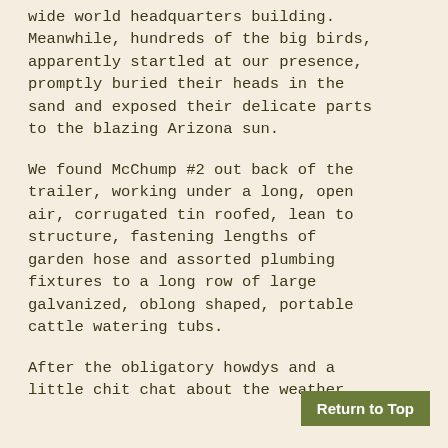wide world headquarters building. Meanwhile, hundreds of the big birds, apparently startled at our presence, promptly buried their heads in the sand and exposed their delicate parts to the blazing Arizona sun.
We found McChump #2 out back of the trailer, working under a long, open air, corrugated tin roofed, lean to structure, fastening lengths of garden hose and assorted plumbing fixtures to a long row of large galvanized, oblong shaped, portable cattle watering tubs.
After the obligatory howdys and a little chit chat about the weather